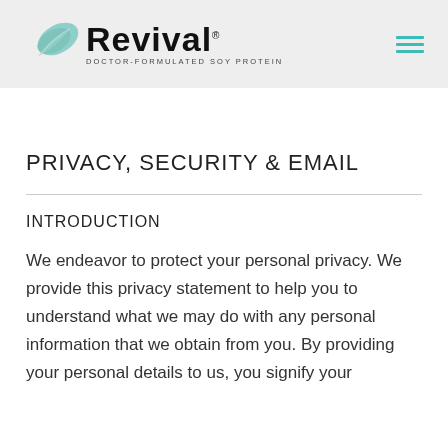[Figure (logo): Revival Doctor-Formulated Soy Protein logo with a teal leaf and bold black Revival text with tagline]
PRIVACY, SECURITY & EMAIL
INTRODUCTION
We endeavor to protect your personal privacy. We provide this privacy statement to help you to understand what we may do with any personal information that we obtain from you. By providing your personal details to us, you signify your acceptance of our Privacy Statement f